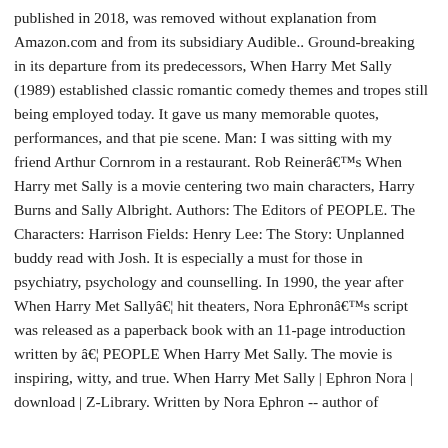published in 2018, was removed without explanation from Amazon.com and from its subsidiary Audible.. Ground-breaking in its departure from its predecessors, When Harry Met Sally (1989) established classic romantic comedy themes and tropes still being employed today. It gave us many memorable quotes, performances, and that pie scene. Man: I was sitting with my friend Arthur Cornrom in a restaurant. Rob Reinerâs When Harry met Sally is a movie centering two main characters, Harry Burns and Sally Albright. Authors: The Editors of PEOPLE. The Characters: Harrison Fields: Henry Lee: The Story: Unplanned buddy read with Josh. It is especially a must for those in psychiatry, psychology and counselling. In 1990, the year after When Harry Met Sallyâ¦ hit theaters, Nora Ephronâs script was released as a paperback book with an 11-page introduction written by â¦ PEOPLE When Harry Met Sally. The movie is inspiring, witty, and true. When Harry Met Sally | Ephron Nora | download | Z-Library. Written by Nora Ephron -- author of